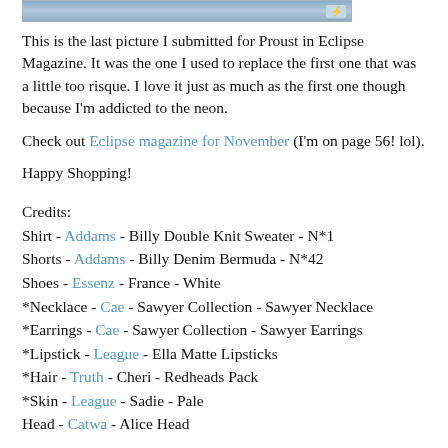[Figure (photo): Partial photo strip at top of page, showing bottom edge of a photo (appears to be a person)]
This is the last picture I submitted for Proust in Eclipse Magazine. It was the one I used to replace the first one that was a little too risque. I love it just as much as the first one though because I'm addicted to the neon.
Check out Eclipse magazine for November (I'm on page 56! lol).
Happy Shopping!
Credits:
Shirt - Addams - Billy Double Knit Sweater - N*1
Shorts - Addams - Billy Denim Bermuda - N*42
Shoes - Essenz - France - White
*Necklace - Cae - Sawyer Collection - Sawyer Necklace
*Earrings - Cae - Sawyer Collection - Sawyer Earrings
*Lipstick - League - Ella Matte Lipsticks
*Hair - Truth - Cheri - Redheads Pack
*Skin - League - Sadie - Pale
Head - Catwa - Alice Head